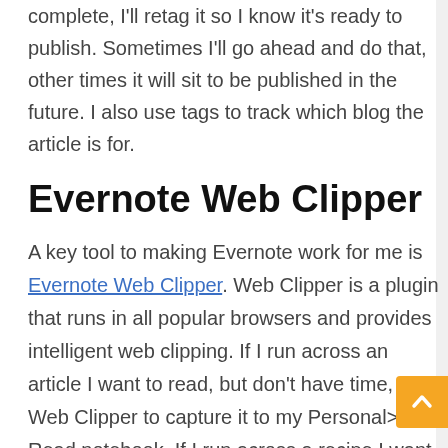complete, I'll retag it so I know it's ready to publish. Sometimes I'll go ahead and do that, other times it will sit to be published in the future. I also use tags to track which blog the article is for.
Evernote Web Clipper
A key tool to making Evernote work for me is Evernote Web Clipper. Web Clipper is a plugin that runs in all popular browsers and provides intelligent web clipping. If I run across an article I want to read, but don't have time, I use Web Clipper to capture it to my Personal>>To Read notebook. If I run across a recipe I want to try, I use Web Clipper to capture it to Personal>>Recipes